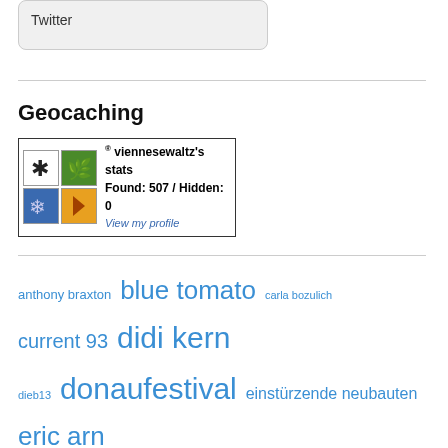Twitter
Geocaching
[Figure (other): Geocaching stats widget showing viennesewaltz's stats: Found: 507 / Hidden: 0, with a link to View my profile and four colored icons]
anthony braxton blue tomato carla bozulich current 93 didi kern dieb13 donaufestival einstürzende neubauten eric arn evan parker fennesz free jazz glen hansard heaven and ingebrigt haker flaten ken vandermark klanggalerie ktl leonard cohen marino pliakas marissa nadler martin siewert massimo